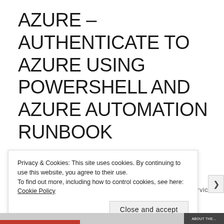AZURE – AUTHENTICATE TO AZURE USING POWERSHELL AND AZURE AUTOMATION RUNBOOK
Authenticate to Azure subscription using PowerShell
The first task before working with any Azure services using...
Privacy & Cookies: This site uses cookies. By continuing to use this website, you agree to their use. To find out more, including how to control cookies, see here: Cookie Policy